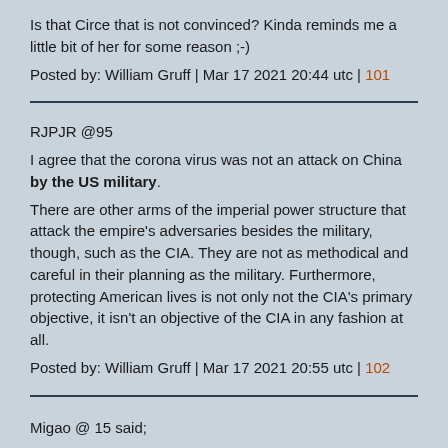Is that Circe that is not convinced? Kinda reminds me a little bit of her for some reason ;-)
Posted by: William Gruff | Mar 17 2021 20:44 utc | 101
RJPJR @95
I agree that the corona virus was not an attack on China by the US military.
There are other arms of the imperial power structure that attack the empire's adversaries besides the military, though, such as the CIA. They are not as methodical and careful in their planning as the military. Furthermore, protecting American lives is not only not the CIA's primary objective, it isn't an objective of the CIA in any fashion at all.
Posted by: William Gruff | Mar 17 2021 20:55 utc | 102
Migao @ 15 said;
"Evil governments do not pull 800 million of its citizens out of poverty. Evil governments don't invest in massive high speed rail networks for its citizens."
"Instead evil governments for example install 800 military...